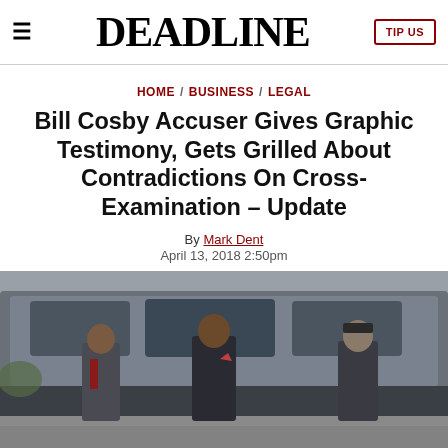DEADLINE
HOME / BUSINESS / LEGAL
Bill Cosby Accuser Gives Graphic Testimony, Gets Grilled About Contradictions On Cross-Examination – Update
By Mark Dent
April 13, 2018 2:50pm
[Figure (photo): Bill Cosby arriving at court accompanied by two other men (one in a suit, one in police/security uniform) walking in front of a large dark SUV.]